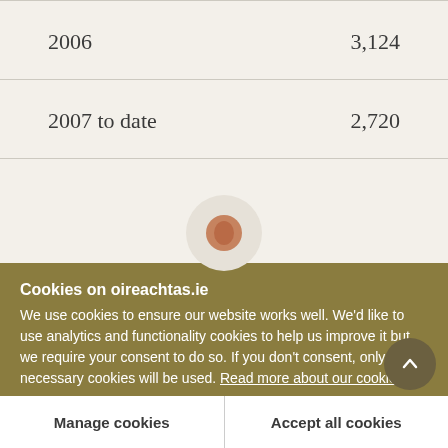| Year | Value |
| --- | --- |
| 2006 | 3,124 |
| 2007 to date | 2,720 |
Cookies on oireachtas.ie
We use cookies to ensure our website works well. We'd like to use analytics and functionality cookies to help us improve it but we require your consent to do so. If you don't consent, only necessary cookies will be used. Read more about our cookies
Manage cookies
Accept all cookies